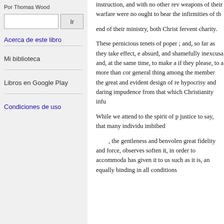Por Thomas Wood
Ir
Acerca de este libro
Mi biblioteca
Libros en Google Play
Condiciones de uso
instruction, and with no other rev weapons of their warfare were no ought to bear the infirmities of th end of their ministry, both Christ fervent charity.
These pernicious tenets of poper ; and, so far as they take effect, e absurd, and shamefully inexcusa and, at the same time, to make a if they please, to a more than cor general thing among the member the great and evident design of re hypocrisy and daring impudence from that which Christianity infu
While we attend to the spirit of p justice to say, that many individu imbibed
, the gentleness and benvolen great fidelity and force, observes soften it, in order to accommoda has given it to us such as it is, an equally binding in all conditions